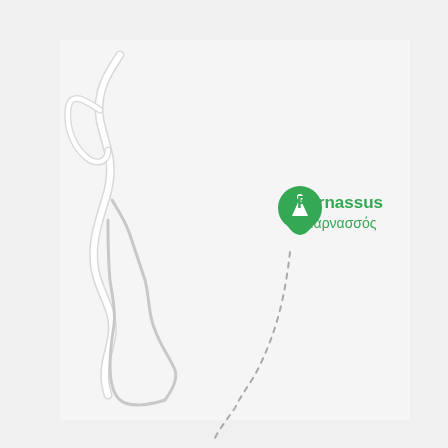[Figure (map): Google Maps screenshot showing the region around Parnassus (Παρνασσός) in Greece. The map has a light gray/white background with a winding road shown as a white path on the left side of the image. A green location pin with a mountain icon marks the location labeled 'Parnassus' in English and 'Παρνασσός' in Greek. A dotted gray line extends southward from the pin, indicating a trail or boundary. The map area shows the mountain region with minimal detail.]